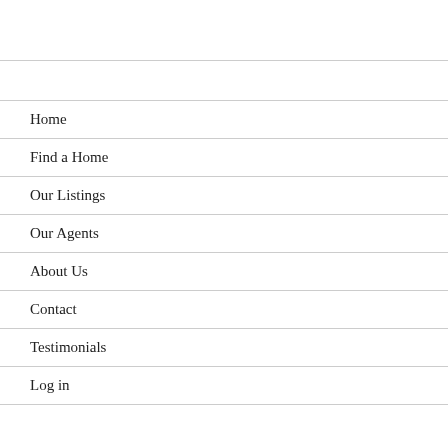Home
Find a Home
Our Listings
Our Agents
About Us
Contact
Testimonials
Log in